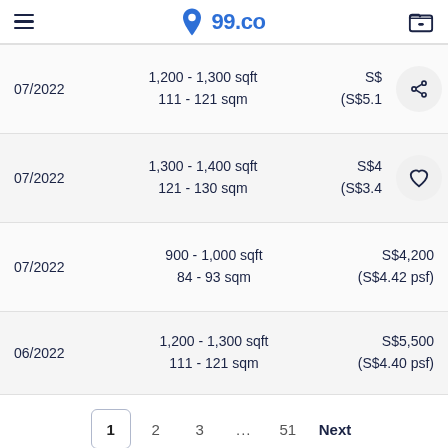99.co
| Date | Size | Price |
| --- | --- | --- |
| 07/2022 | 1,200 - 1,300 sqft
111 - 121 sqm | S$4... (S$5.1... psf) |
| 07/2022 | 1,300 - 1,400 sqft
121 - 130 sqm | S$4... (S$3.4... psf) |
| 07/2022 | 900 - 1,000 sqft
84 - 93 sqm | S$4,200
(S$4.42 psf) |
| 06/2022 | 1,200 - 1,300 sqft
111 - 121 sqm | S$5,500
(S$4.40 psf) |
1  2  3  ...  51  Next
This listing is no longer available